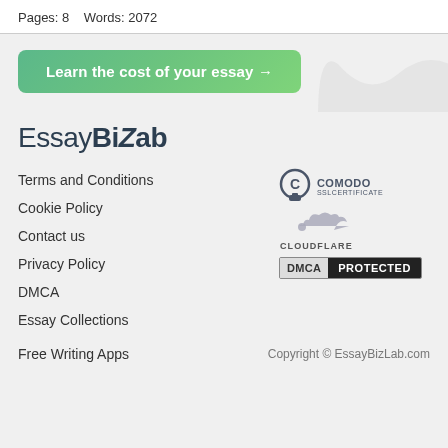Pages: 8    Words: 2072
[Figure (other): Green gradient CTA button: 'Learn the cost of your essay →']
[Figure (logo): EssayBizLab logo in bold dark text]
Terms and Conditions
Cookie Policy
Contact us
Privacy Policy
DMCA
Essay Collections
Free Writing Apps
[Figure (logo): Comodo SSL Certificate badge]
[Figure (logo): Cloudflare logo badge]
[Figure (logo): DMCA Protected badge]
Copyright © EssayBizLab.com